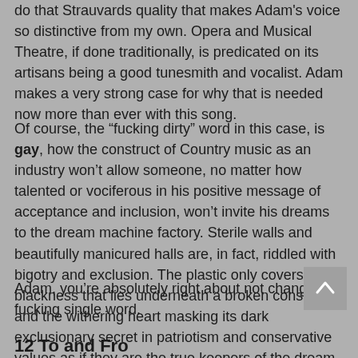do that Strauvards quality that makes Adam's voice so distinctive from my own. Opera and Musical Theatre, if done traditionally, is predicated on its artisans being a good tunesmith and vocalist. Adam makes a very strong case for why that is needed now more than ever with this song.
Of course, the “fucking dirty” word in this case, is gay, how the construct of Country music as an industry won’t allow someone, no matter how talented or vociferous in his positive message of acceptance and inclusion, won’t invite his dreams to the dream machine factory. Sterile walls and beautifully manicured halls are, in fact, riddled with bigotry and exclusion. The plastic only covers the blackness that lies underneath a broken construct and the withering heart masking its dark exclusionary secret in patriotism and conservative values as if they are the true keepers of the dream.
Adam, you’re absolutely right about not changing a fucking single word.
12 To and Fro